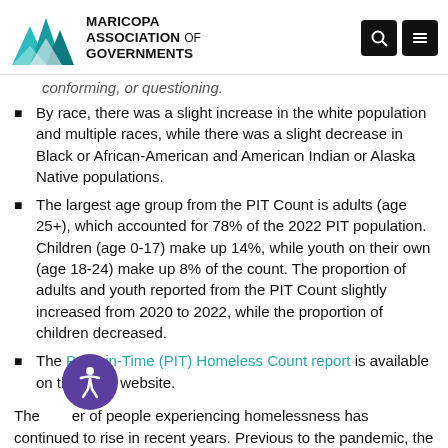Maricopa Association of Governments
conforming, or questioning.
By race, there was a slight increase in the white population and multiple races, while there was a slight decrease in Black or African-American and American Indian or Alaska Native populations.
The largest age group from the PIT Count is adults (age 25+), which accounted for 78% of the 2022 PIT population. Children (age 0-17) make up 14%, while youth on their own (age 18-24) make up 8% of the count. The proportion of adults and youth reported from the PIT Count slightly increased from 2020 to 2022, while the proportion of children decreased.
The Point-in-Time (PIT) Homeless Count report is available on the MAG website.
The number of people experiencing homelessness has continued to rise in recent years. Previous to the pandemic, the